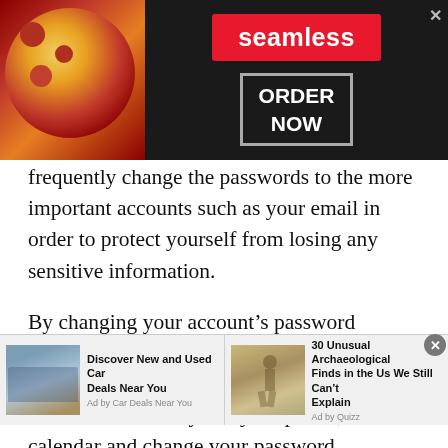[Figure (screenshot): Seamless food delivery advertisement banner with pizza image on left, Seamless red logo badge in center, and ORDER NOW box on right with X close button]
frequently change the passwords to the more important accounts such as your email in order to protect yourself from losing any sensitive information.
By changing your account’s password regularly, the chance of your account being accessed is reduced. Just to be sure, set a reminder for 90 days on your phone, or calendar and change your password frequently. This will remind you to change your password every day.
If you are setting a reminder on your mobile phone, it is a
[Figure (screenshot): Bottom advertisement bar with two ads: 'Discover New and Used Car Deals Near You' by Car Deals Near You with a car thumbnail, and '30 Unusual Archaeological Finds in the Us We Still Can't Explain' by Quizz with ruins thumbnail. X close button at top right.]